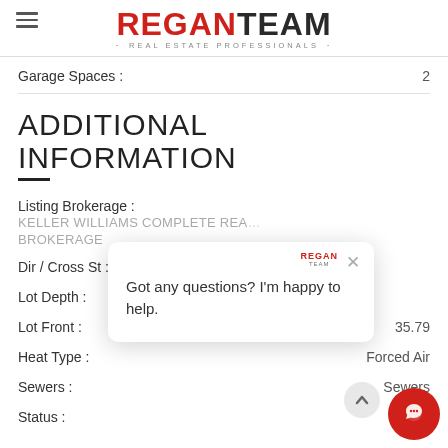REGAN TEAM · REAL ESTATE PROFESSIONALS ·
Garage Spaces : 2
ADDITIONAL INFORMATION
Listing Brokerage :
KELLER WILLIAMS COMPLETE REALTY BROKERAGE
Dir / Cross St :
Lot Depth :
Lot Front : 35.79
Heat Type : Forced Air
Sewers : Sewers
Status : A
Got any questions? I'm happy to help.